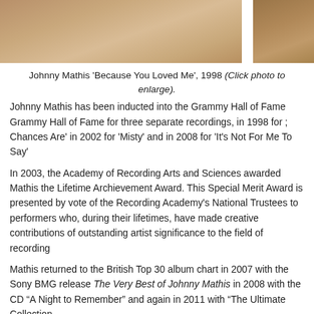[Figure (photo): Photo of Johnny Mathis, partially visible, warm brown tones, 1998]
Johnny Mathis 'Because You Loved Me', 1998 (Click photo to enlarge).
Johnny Mathis has been inducted into the Grammy Hall of Fame Grammy Hall of Fame for three separate recordings, in 1998 for ; Chances Are' in 2002 for 'Misty' and in 2008 for 'It’s Not For Me To Say'
In 2003, the Academy of Recording Arts and Sciences awarded Mathis the Lifetime Archievement Award. This Special Merit Award is presented by vote of the Recording Academy’s National Trustees to performers who, during their lifetimes, have made creative contributions of outstanding artist significance to the field of recording
Mathis returned to the British Top 30 album chart in 2007 with the Sony BMG release The Very Best of Johnny Mathis in 2008 with the CD “A Night to Remember” and again in 2011 with “The Ultimate Collection